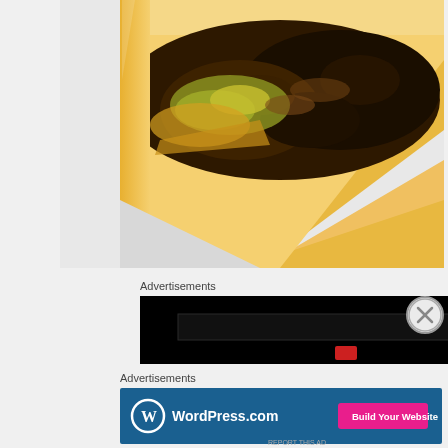[Figure (photo): Close-up photo of a cheesesteak or hoagie sandwich on a white plate, showing the top portion with sautéed mushrooms, green peppers, caramelized onions, and melted cheese on a hoagie roll]
Advertisements
[Figure (screenshot): Black advertisement banner with a dark inner rectangle and a small red icon at the bottom center]
Advertisements
[Figure (screenshot): WordPress.com advertisement banner with blue background showing WordPress logo and text 'WordPress.com' on the left, and a pink 'Build Your Website' button on the right]